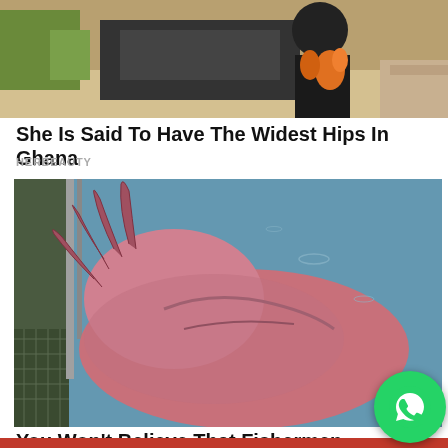[Figure (photo): Top portion of image showing a person in dark clothing with orange/floral pattern, near a vehicle, outdoor setting with trees]
She Is Said To Have The Widest Hips In Ghana
HERBEAUTY
[Figure (photo): A large pink sea creature (possibly a giant squid or fish) being hauled onto a boat, partially submerged in water, being held by metal hooks/rods]
You Won't Believe That Fishermen Caught These Gigantic Monsters
[Figure (photo): Advertisement banner showing an airplane with red, yellow and blue livery. Text reads WITHOUT REGARD TO POLITICS, RELIGION, OR ABILITY TO PAY]
[Figure (logo): WhatsApp green circular button with phone/chat icon]